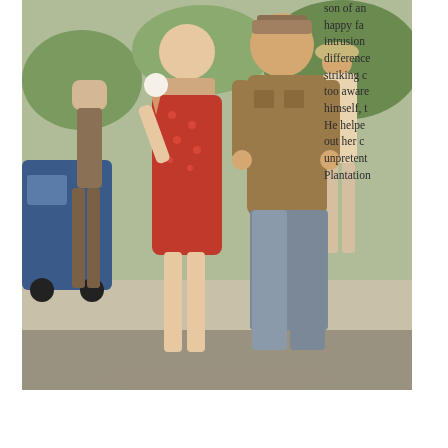[Figure (photo): A man in a tan/brown short-sleeve shirt and grey pants walks alongside a woman in a short red patterned dress holding an ice cream cone. They walk on a sidewalk in what appears to be a 1960s or 1970s setting. Background figures include a person in brown trousers on the left and a woman in a light dress and hat on the right. A blue car is parked on the far left.]
son of an happy fa intrusion difference striking c too aware himself, t He helpe out her c unpretent Plantation